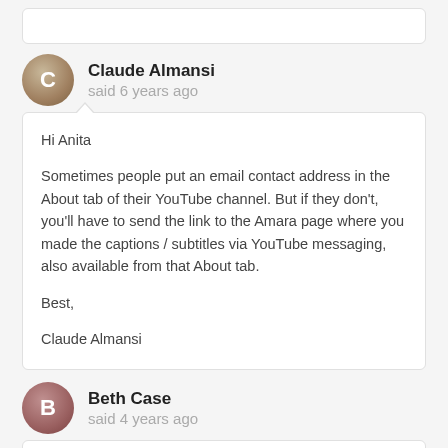Claude Almansi
said 6 years ago
Hi Anita

Sometimes people put an email contact address in the About tab of their YouTube channel. But if they don't, you'll have to send the link to the Amara page where you made the captions / subtitles via YouTube messaging, also available from that About tab.

Best,

Claude Almansi
Beth Case
said 4 years ago
I don't think you completely answered the question and I have the